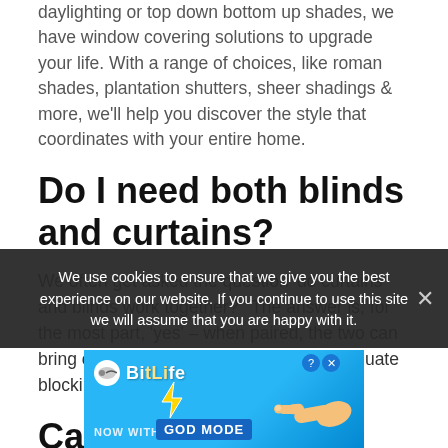daylighting or top down bottom up shades, we have window covering solutions to upgrade your life. With a range of choices, like roman shades, plantation shutters, sheer shadings & more, we'll help you discover the style that coordinates with your entire home.
Do I need both blinds and curtains?
We often get asked the question 'do curtains and blinds work together? ' The answer is, for the most part, 'yes' – when paired, the two can bring out a flexible décor and ensure adequate blocking of light and privacy control.
Can you put long curtains on a short...
We use cookies to ensure that we give you the best experience on our website. If you continue to use this site we will assume that you are happy with it.
[Figure (screenshot): BitLife advertisement banner: 'NOW WITH GOD MODE' on a blue background with lightning bolt and hand graphic]